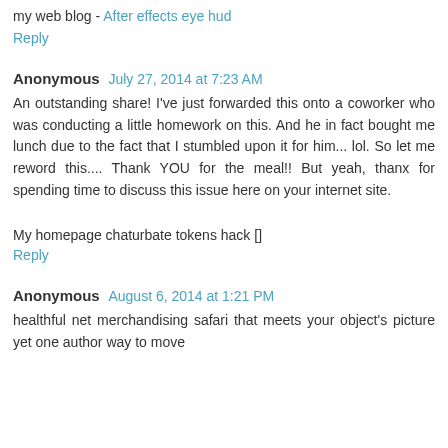my web blog - After effects eye hud
Reply
Anonymous July 27, 2014 at 7:23 AM
An outstanding share! I've just forwarded this onto a coworker who was conducting a little homework on this. And he in fact bought me lunch due to the fact that I stumbled upon it for him... lol. So let me reword this.... Thank YOU for the meal!! But yeah, thanx for spending time to discuss this issue here on your internet site.
My homepage chaturbate tokens hack []
Reply
Anonymous August 6, 2014 at 1:21 PM
healthful net merchandising safari that meets your object's picture yet one author way to move